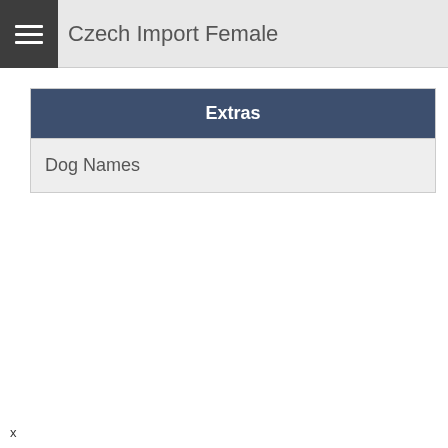Czech Import Female
Extras
Dog Names
x